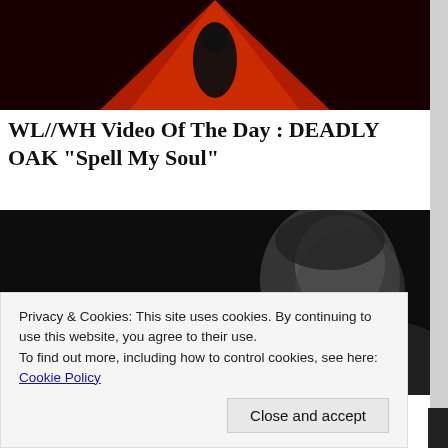[Figure (photo): Dark image with red triangular light beam and silhouette of a person, partially cropped at top]
WL//WH Video Of The Day : DEADLY OAK “Spell My Soul”
[Figure (photo): Black and white portrait photo of a person with curly hair, head slightly bowed, against a dark background]
Privacy & Cookies: This site uses cookies. By continuing to use this website, you agree to their use.
To find out more, including how to control cookies, see here:
Cookie Policy
Close and accept